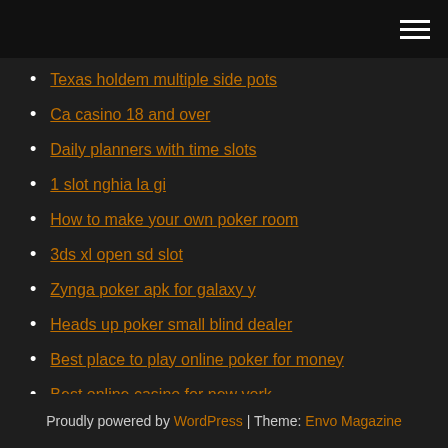[hamburger menu icon]
Texas holdem multiple side pots
Ca casino 18 and over
Daily planners with time slots
1 slot nghia la gi
How to make your own poker room
3ds xl open sd slot
Zynga poker apk for galaxy y
Heads up poker small blind dealer
Best place to play online poker for money
Best online casino for new york
Places to eat casino nsw
Proudly powered by WordPress | Theme: Envo Magazine